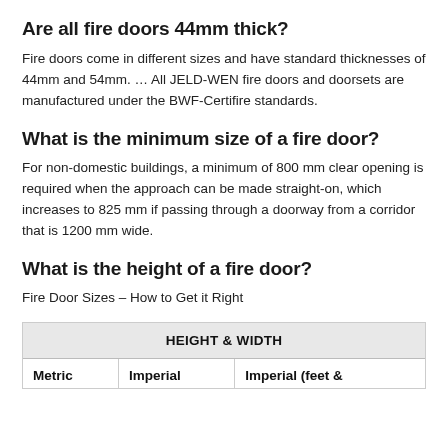Are all fire doors 44mm thick?
Fire doors come in different sizes and have standard thicknesses of 44mm and 54mm. … All JELD-WEN fire doors and doorsets are manufactured under the BWF-Certifire standards.
What is the minimum size of a fire door?
For non-domestic buildings, a minimum of 800 mm clear opening is required when the approach can be made straight-on, which increases to 825 mm if passing through a doorway from a corridor that is 1200 mm wide.
What is the height of a fire door?
Fire Door Sizes – How to Get it Right
| HEIGHT & WIDTH |  |  |
| --- | --- | --- |
| Metric | Imperial | Imperial (feet & |